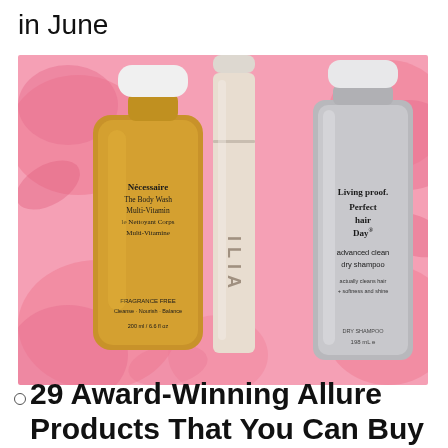in June
[Figure (photo): Three beauty products on a pink floral background: Nécessaire The Body Wash Multi-Vitamin body wash bottle (golden/tan), an ILIA concealer tube (nude/beige), and Living proof. Perfect Hair Day advanced clean dry shampoo (silver aerosol can).]
29 Award-Winning Allure Products That You Can Buy